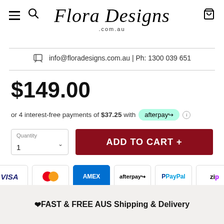Flora Designs .com.au
info@floradesigns.com.au | Ph: 1300 039 651
$149.00
or 4 interest-free payments of $37.25 with afterpay
[Figure (infographic): E-commerce product page with quantity selector, ADD TO CART + button, and payment method icons: VISA, Mastercard, AMEX, Afterpay, PayPal, Zip]
❤ FAST & FREE AUS Shipping & Delivery